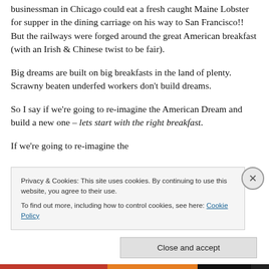businessman in Chicago could eat a fresh caught Maine Lobster for supper in the dining carriage on his way to San Francisco!! But the railways were forged around the great American breakfast (with an Irish & Chinese twist to be fair).
Big dreams are built on big breakfasts in the land of plenty. Scrawny beaten underfed workers don't build dreams.
So I say if we're going to re-imagine the American Dream and build a new one – lets start with the right breakfast.
If we're going to be...
Privacy & Cookies: This site uses cookies. By continuing to use this website, you agree to their use.
To find out more, including how to control cookies, see here: Cookie Policy